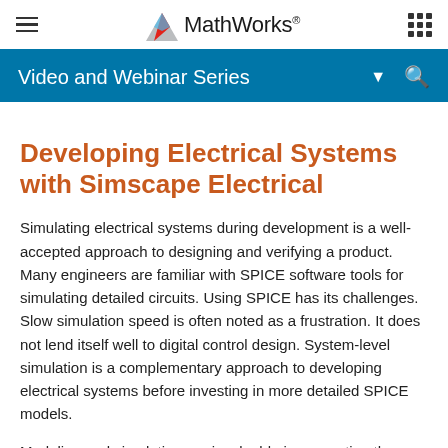MathWorks
Video and Webinar Series
Developing Electrical Systems with Simscape Electrical
Simulating electrical systems during development is a well-accepted approach to designing and verifying a product. Many engineers are familiar with SPICE software tools for simulating detailed circuits. Using SPICE has its challenges. Slow simulation speed is often noted as a frustration. It does not lend itself well to digital control design. System-level simulation is a complementary approach to developing electrical systems before investing in more detailed SPICE models.
Modeling and simulation are invaluable in supporting the development of electrical technology. In this video series